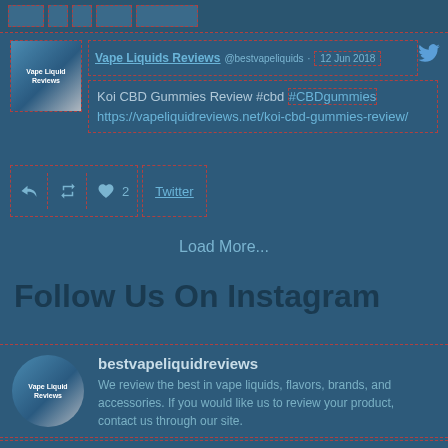[Figure (screenshot): Top partial bar with dashed red border blocks]
[Figure (screenshot): Avatar image for Vape Liquid Reviews account]
Vape Liquids Reviews @bestvapeliquids · 12 Jun 2018
Koi CBD Gummies Review #cbd #CBDgummies https://vapeliquidreviews.net/koi-cbd-gummies-review/
[Figure (screenshot): Tweet action icons: reply, retweet, heart (2 likes), Twitter link]
Load More...
Follow Us On Instagram
[Figure (screenshot): Instagram profile avatar for bestvapeliquidreviews]
bestvapeliquidreviews
We review the best in vape liquids, flavors, brands, and accessories. If you would like us to review your product, contact us through our site.